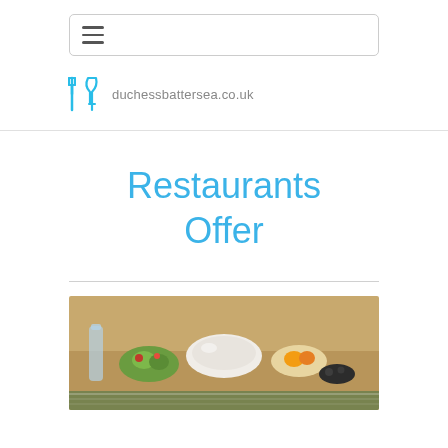≡ (hamburger menu nav bar)
[Figure (logo): Cutlery and wine glass icon in cyan/blue with text duchessbattersea.co.uk]
Restaurants Offer
[Figure (photo): Food spread on a table with various dishes, salads, and drinks — a restaurant buffet scene]